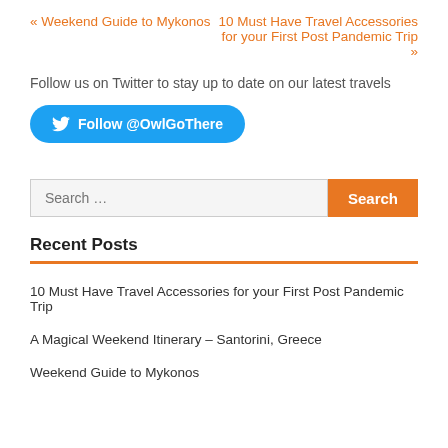« Weekend Guide to Mykonos
10 Must Have Travel Accessories for your First Post Pandemic Trip »
Follow us on Twitter to stay up to date on our latest travels
[Figure (other): Twitter Follow button with bird icon and text 'Follow @OwlGoThere' on blue rounded rectangle background]
Search …
Recent Posts
10 Must Have Travel Accessories for your First Post Pandemic Trip
A Magical Weekend Itinerary – Santorini, Greece
Weekend Guide to Mykonos